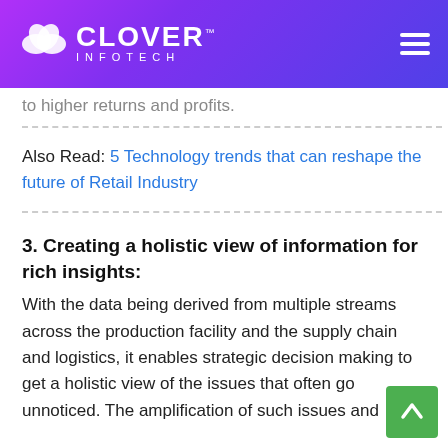Clover Infotech
to higher returns and profits.
Also Read: 5 Technology trends that can reshape the future of Retail Industry
3. Creating a holistic view of information for rich insights:
With the data being derived from multiple streams across the production facility and the supply chain and logistics, it enables strategic decision making to get a holistic view of the issues that often go unnoticed. The amplification of such issues and